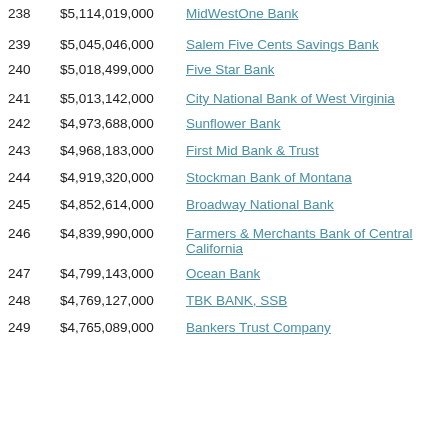| Rank | Assets | Bank Name |
| --- | --- | --- |
| 238 | $5,114,019,000 | MidWestOne Bank |
| 239 | $5,045,046,000 | Salem Five Cents Savings Bank |
| 240 | $5,018,499,000 | Five Star Bank |
| 241 | $5,013,142,000 | City National Bank of West Virginia |
| 242 | $4,973,688,000 | Sunflower Bank |
| 243 | $4,968,183,000 | First Mid Bank & Trust |
| 244 | $4,919,320,000 | Stockman Bank of Montana |
| 245 | $4,852,614,000 | Broadway National Bank |
| 246 | $4,839,990,000 | Farmers & Merchants Bank of Central California |
| 247 | $4,799,143,000 | Ocean Bank |
| 248 | $4,769,127,000 | TBK BANK, SSB |
| 249 | $4,765,089,000 | Bankers Trust Company |